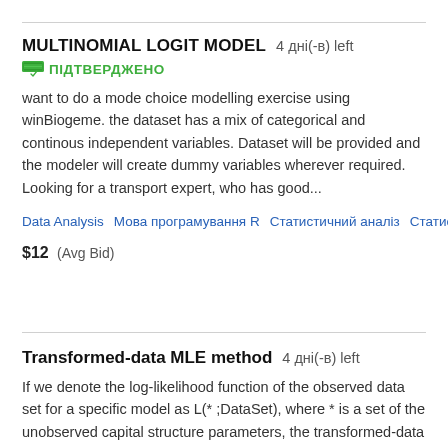MULTINOMIAL LOGIT MODEL  4 дні(-в) left
ПІДТВЕРДЖЕНО
want to do a mode choice modelling exercise using winBiogeme. the dataset has a mix of categorical and continous independent variables. Dataset will be provided and the modeler will create dummy variables wherever required. Looking for a transport expert, who has good...
Data Analysis   Мова програмування R   Статистичний аналіз   Статистика
$12  (Avg Bid)
Transformed-data MLE method  4 дні(-в) left
If we denote the log-likelihood function of the observed data set for a specific model as L(* ;DataSet), where * is a set of the unobserved capital structure parameters, the transformed-data MLE method is employed to find the